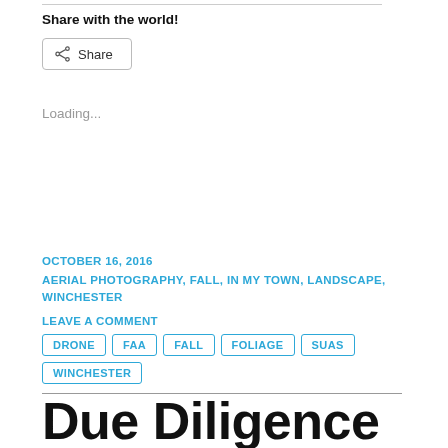Share with the world!
[Figure (other): Share button with share icon]
Loading...
OCTOBER 16, 2016
AERIAL PHOTOGRAPHY, FALL, IN MY TOWN, LANDSCAPE, WINCHESTER
LEAVE A COMMENT
DRONE
FAA
FALL
FOLIAGE
SUAS
WINCHESTER
Due Diligence